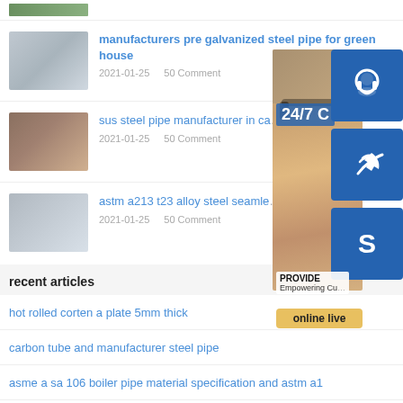[Figure (photo): Partial top image strip showing green/nature scene]
[Figure (photo): Galvanized steel pipe sheets stacked]
manufacturers pre galvanized steel pipe for green house
2021-01-25   50 Comment
[Figure (photo): Steel coils/rolls in warehouse]
sus steel pipe manufacturer in ca...
2021-01-25   50 Comment
[Figure (photo): Flat steel sheet/plate]
astm a213 t23 alloy steel seamle...
2021-01-25   50 Comment
[Figure (infographic): Customer service overlay with 24/7 banner, woman with headset, blue icon badges for support/phone/Skype, 'PROVIDE / Empowering Cu...' text, 'online live' button]
recent articles
hot rolled corten a plate 5mm thick
carbon tube and manufacturer steel pipe
asme a sa 106 boiler pipe material specification and astm a1
316 stainless steel sheet high quality and lowest price